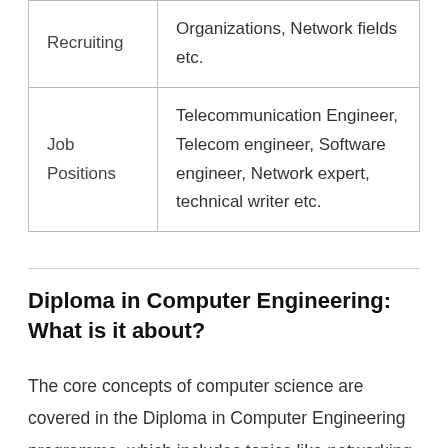| Recruiting | Organizations, Network fields etc. |
| Job Positions | Telecommunication Engineer, Telecom engineer, Software engineer, Network expert, technical writer etc. |
Diploma in Computer Engineering: What is it about?
The core concepts of computer science are covered in the Diploma in Computer Engineering programme, which includes topics like networking,